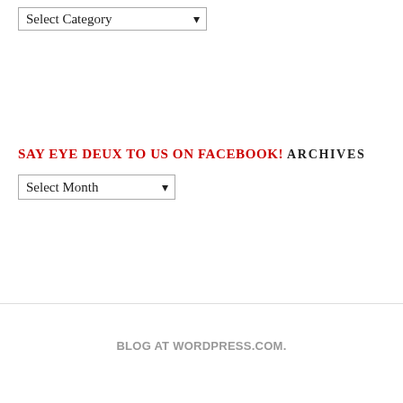Select Category
SAY EYE DEUX TO US ON FACEBOOK!
ARCHIVES
Select Month
BLOG AT WORDPRESS.COM.